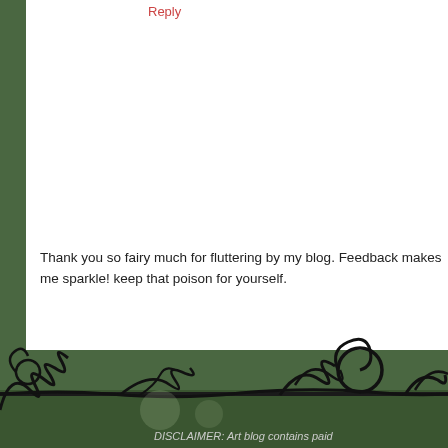Reply
Thank you so fairy much for fluttering by my blog. Feedback makes me sparkle! keep that poison for yourself.
Newer Post · · · · · · · · · · · · Home · · · · · · · ·
Subscribe to: Post Comments ( Atom )
[Figure (illustration): Decorative black curling vine/branch illustration at page bottom over dark green background]
DISCLAIMER: Art blog contains paid